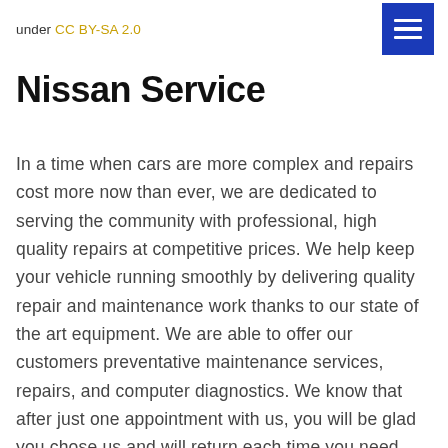under CC BY-SA 2.0
Nissan Service
In a time when cars are more complex and repairs cost more now than ever, we are dedicated to serving the community with professional, high quality repairs at competitive prices. We help keep your vehicle running smoothly by delivering quality repair and maintenance work thanks to our state of the art equipment. We are able to offer our customers preventative maintenance services, repairs, and computer diagnostics. We know that after just one appointment with us, you will be glad you chose us and will return each time you need work done on your Nissan vehicle.